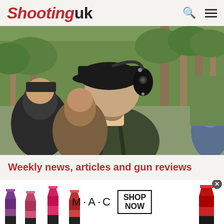Shooting uk
[Figure (photo): Back view of a person wearing a black baseball cap with ear defenders/hearing protection at an outdoor shooting event. Other people visible in the background among trees.]
Weekly news, articles and gun reviews
[Figure (infographic): MAC Cosmetics advertisement banner showing colourful lipsticks on the left and right, MAC logo in the center, and a SHOP NOW box with border on the right side.]